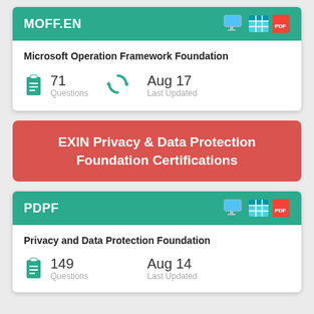MOFF.EN
Microsoft Operation Framework Foundation
71 Questions
Aug 17 Last Updated
EXIN Privacy & Data Protection Foundation Certifications
PDPF
Privacy and Data Protection Foundation
149
Aug 14